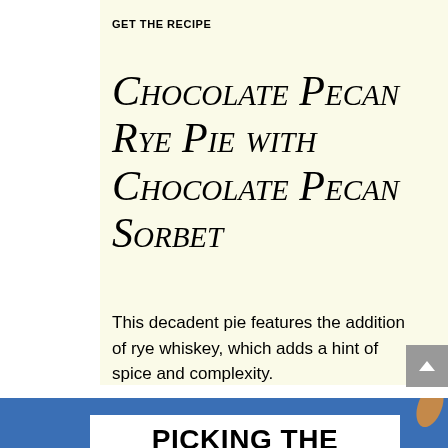GET THE RECIPE
Chocolate Pecan Rye Pie with Chocolate Pecan Sorbet
This decadent pie features the addition of rye whiskey, which adds a hint of spice and complexity.
[Figure (other): Blue background section with white card partially visible at bottom, showing text 'PICKING THE']
PICKING THE